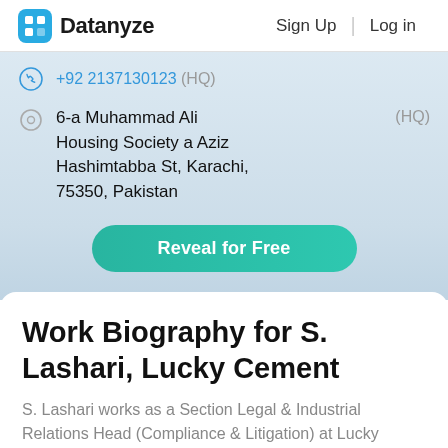Datanyze | Sign Up | Log in
+92 2137130123 (HQ)
6-a Muhammad Ali Housing Society a Aziz Hashimtabba St, Karachi, 75350, Pakistan (HQ)
Reveal for Free
Work Biography for S. Lashari, Lucky Cement
S. Lashari works as a Section Legal & Industrial Relations Head (Compliance & Litigation) at Lucky